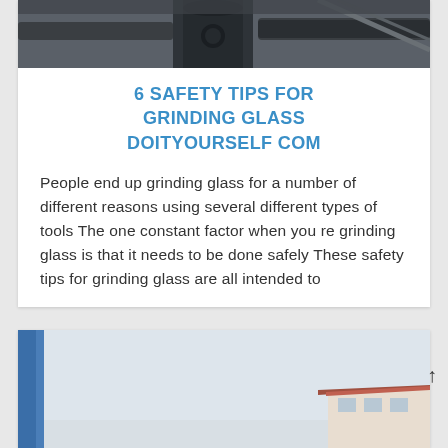[Figure (photo): Industrial machinery or equipment, dark colored metal pipes and components photographed from below or at close range against a light background.]
6 SAFETY TIPS FOR GRINDING GLASS DOITYOURSELF COM
People end up grinding glass for a number of different reasons using several different types of tools The one constant factor when you re grinding glass is that it needs to be done safely These safety tips for grinding glass are all intended to
[Figure (photo): Partial view of an outdoor scene with a blue vertical structure on the left and a building with a reddish-brown roof visible in the lower right, against a light sky.]